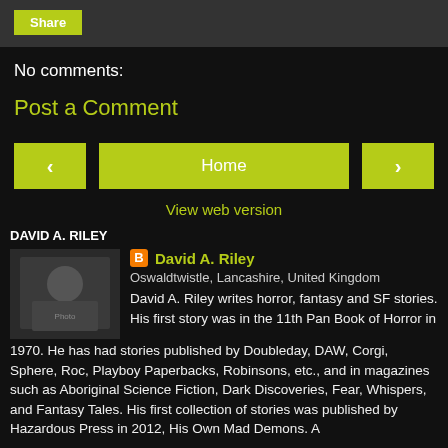Share
No comments:
Post a Comment
‹ | Home | ›
View web version
DAVID A. RILEY
David A. Riley
Oswaldtwistle, Lancashire, United Kingdom
David A. Riley writes horror, fantasy and SF stories. His first story was in the 11th Pan Book of Horror in 1970. He has had stories published by Doubleday, DAW, Corgi, Sphere, Roc, Playboy Paperbacks, Robinsons, etc., and in magazines such as Aboriginal Science Fiction, Dark Discoveries, Fear, Whispers, and Fantasy Tales. His first collection of stories was published by Hazardous Press in 2012, His Own Mad Demons. A